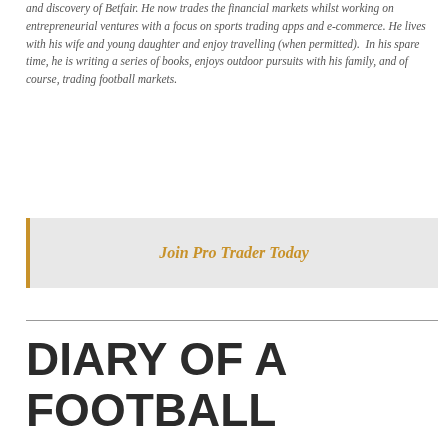and discovery of Betfair. He now trades the financial markets whilst working on entrepreneurial ventures with a focus on sports trading apps and e-commerce. He lives with his wife and young daughter and enjoy travelling (when permitted).  In his spare time, he is writing a series of books, enjoys outdoor pursuits with his family, and of course, trading football markets.
Join Pro Trader Today
DIARY OF A FOOTBALL